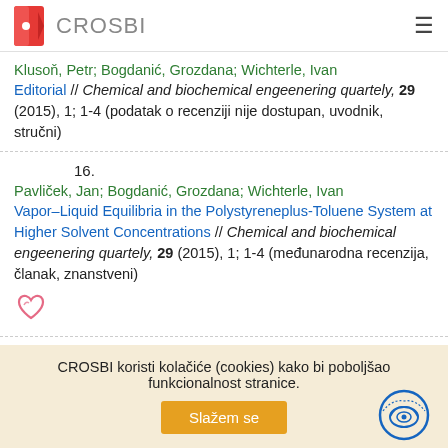CROSBI
Klusoň, Petr; Bogdanić, Grozdana; Wichterle, Ivan
Editorial // Chemical and biochemical engeenering quartely, 29 (2015), 1; 1-4 (podatak o recenziji nije dostupan, uvodnik, stručni)
16.
Pavliček, Jan; Bogdanić, Grozdana; Wichterle, Ivan
Vapor–Liquid Equilibria in the Polystyreneplus-Toluene System at Higher Solvent Concentrations // Chemical and biochemical engeenering quartely, 29 (2015), 1; 1-4 (međunarodna recenzija, članak, znanstveni)
CROSBI koristi kolačiće (cookies) kako bi poboljšao funkcionalnost stranice. Slažem se